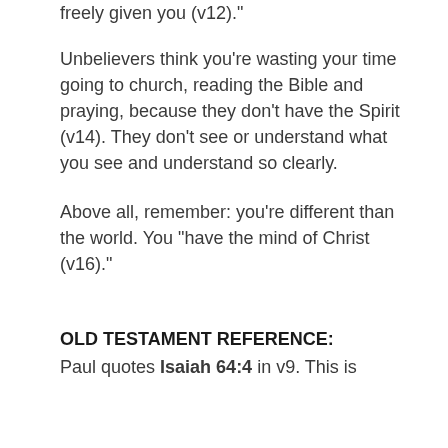freely given you (v12)."
Unbelievers think you're wasting your time going to church, reading the Bible and praying, because they don't have the Spirit (v14).  They don't see or understand what you see and understand so clearly.
Above all, remember: you're different than the world. You "have the mind of Christ (v16)."
OLD TESTAMENT REFERENCE:
Paul quotes Isaiah 64:4 in v9. This is